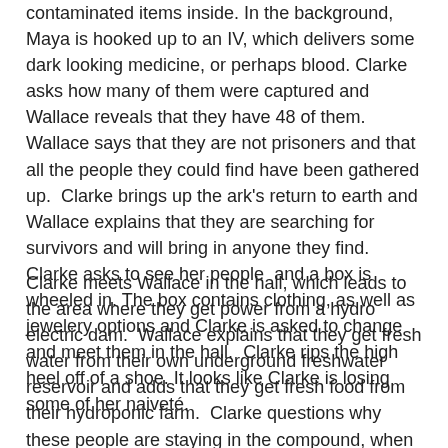contaminated items inside. In the background, Maya is hooked up to an IV, which delivers some dark looking medicine, or perhaps blood. Clarke asks how many of them were captured and Wallace reveals that they have 48 of them.  Wallace says that they are not prisoners and that all the people they could find have been gathered up.  Clarke brings up the ark's return to earth and Wallace explains that they are searching for survivors and will bring in anyone they find. Clarke asks to see her people  and a box is wheeled in. The box contains clothing, as well as jewelery options and Clarke is asked to change and meet them in the hall.  Clarke rips the high heel off of a shoe. It looks like Clarke is losing some of her naiveté.
Clarke meets Wallace in the hall, which leads to the area where they get power from a hydro electric dam.  Wallace explains that they get fresh water from their own underground freshwater reservoir and adds that they get fresh food from their hydroponic farm.  Clarke questions why these people are staying in the compound, when they know the ground is survivable.  Wallace explains that the ground is not survivable for them.  Clarke points out that the